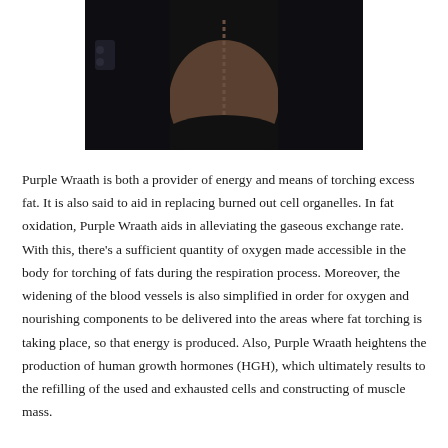[Figure (photo): A dark photo showing a person from behind, gripping handles of exercise equipment in a gym. The person's back and arms are visible against a dark background.]
Purple Wraath is both a provider of energy and means of torching excess fat. It is also said to aid in replacing burned out cell organelles. In fat oxidation, Purple Wraath aids in alleviating the gaseous exchange rate. With this, there's a sufficient quantity of oxygen made accessible in the body for torching of fats during the respiration process. Moreover, the widening of the blood vessels is also simplified in order for oxygen and nourishing components to be delivered into the areas where fat torching is taking place, so that energy is produced. Also, Purple Wraath heightens the production of human growth hormones (HGH), which ultimately results to the refilling of the used and exhausted cells and constructing of muscle mass.